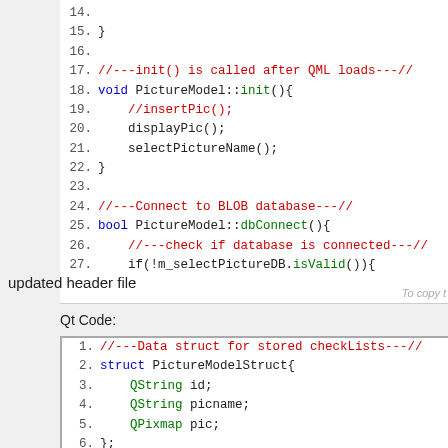[Figure (screenshot): Code editor screenshot showing C++ Qt code lines 14-27 with syntax highlighting. Lines 17 and 24 are comments in red, keywords in blue, Qt types in green.]
updated header file
Qt Code:
[Figure (screenshot): Code editor screenshot showing C++ Qt header file code lines 1-10 with syntax highlighting. Line 1 is a red comment, keywords in blue, Qt types in green, line 10 shows Q_OBJECT in bold.]